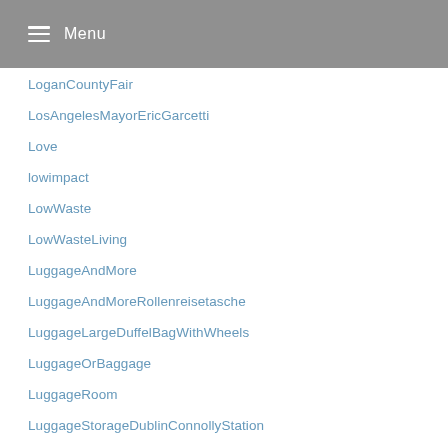Menu
LoganCountyFair
LosAngelesMayorEricGarcetti
Love
lowimpact
LowWaste
LowWasteLiving
LuggageAndMore
LuggageAndMoreRollenreisetasche
LuggageLargeDuffelBagWithWheels
LuggageOrBaggage
LuggageRoom
LuggageStorageDublinConnollyStation
LuggageStorageMelbourne
luggagetag
LuisDeJavier
Lululemon
LululemonXRoksanda